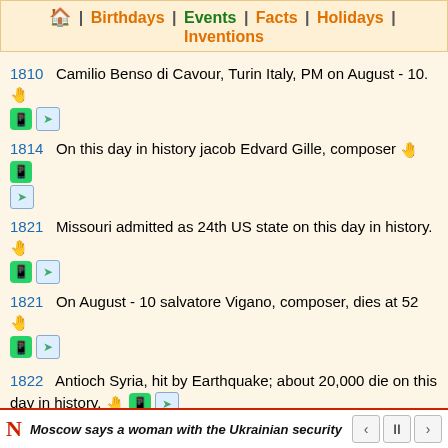🏠 | Birthdays | Events | Facts | Holidays | Inventions
1810  Camilio Benso di Cavour, Turin Italy, PM on August - 10.
1814  On this day in history jacob Edvard Gille, composer
1821  Missouri admitted as 24th US state on this day in history.
1821  On August - 10 salvatore Vigano, composer, dies at 52
1822  Antioch Syria, hit by Earthquake; about 20,000 die on this day in history.
Moscow says a woman with the Ukrainian security service